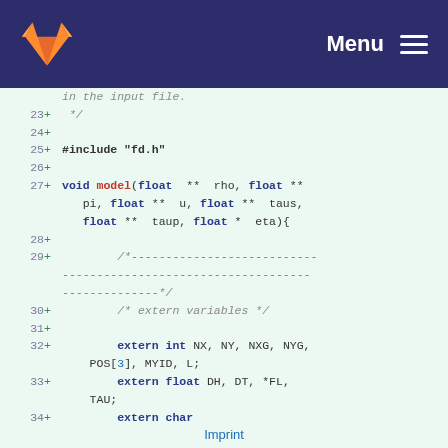GitLab Menu
[Figure (screenshot): Code diff view showing lines 23-34 of a C source file with additions marked with + signs, including includes, function signature for model(), and extern variable declarations]
Imprint